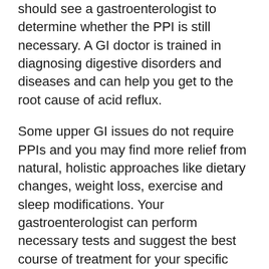should see a gastroenterologist to determine whether the PPI is still necessary. A GI doctor is trained in diagnosing digestive disorders and diseases and can help you get to the root cause of acid reflux.
Some upper GI issues do not require PPIs and you may find more relief from natural, holistic approaches like dietary changes, weight loss, exercise and sleep modifications. Your gastroenterologist can perform necessary tests and suggest the best course of treatment for your specific condition.
Is Long-Term PPI Use Dangerous?
If you are currently under the care of a